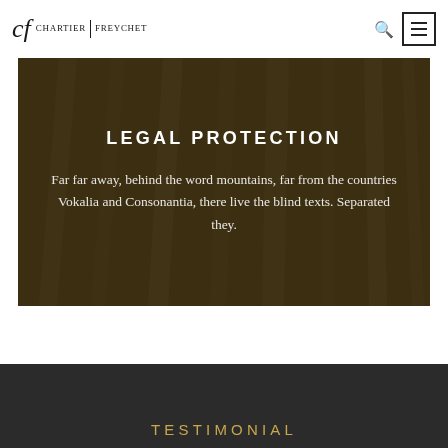CHARTIER FREYCHET
LEGAL PROTECTION
Far far away, behind the word mountains, far from the countries Vokalia and Consonantia, there live the blind texts. Separated they.
TESTIMONIAL